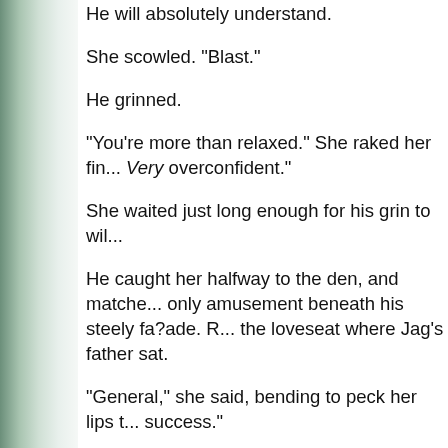He will absolutely understand.
She scowled. "Blast."
He grinned.
"You're more than relaxed." She raked her fi... Very overconfident."
She waited just long enough for his grin to wil...
He caught her halfway to the den, and matche... only amusement beneath his steely fa?ade. R... the loveseat where Jag's father sat.
"General," she said, bending to peck her lips t... success."
He stared at her in bewilderment before retur... appreciate the sentiment, but the credit all go...
"Of course." Arching her eyebrow, Jaina glan... unforeseen trouble these past couple days."
"Nothing we couldn't manage." Jag whisked h... evening. This time she landed unceremonious... her. "Father had plenty of documents from ov... circumstantial evidence to -"
A politely cleared throat brought Jag's discour...